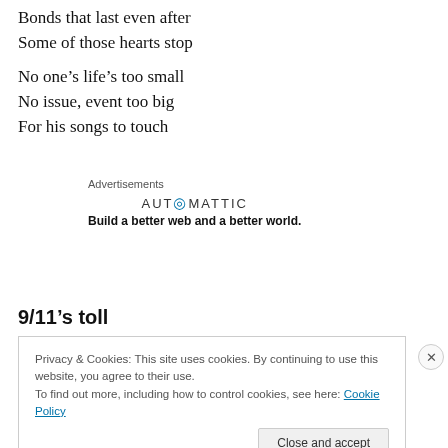Bonds that last even after
Some of those hearts stop
No one’s life’s too small
No issue, event too big
For his songs to touch
[Figure (other): Automattic advertisement: logo text 'AUTOMATTIC' with a blue @ symbol, tagline 'Build a better web and a better world.']
9/11’s toll
Privacy & Cookies: This site uses cookies. By continuing to use this website, you agree to their use.
To find out more, including how to control cookies, see here: Cookie Policy
Close and accept